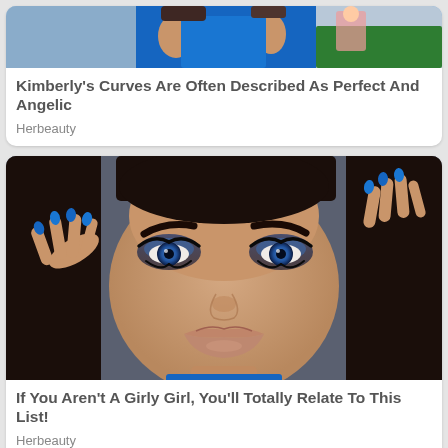[Figure (photo): Photo of a woman in a blue outfit, partial view showing torso and a Barbie-like figurine]
Kimberly's Curves Are Often Described As Perfect And Angelic
Herbeauty
[Figure (photo): Close-up photo of a woman with dramatic blue eye makeup, dark hair, blue nails, and full lips, hands framing her face]
If You Aren't A Girly Girl, You'll Totally Relate To This List!
Herbeauty